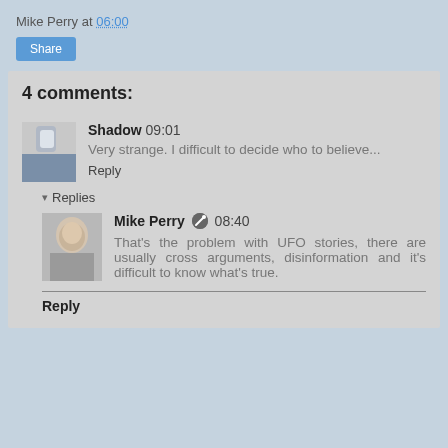Mike Perry at 06:00
Share
4 comments:
Shadow 09:01
Very strange. I difficult to decide who to believe...
Reply
▾ Replies
Mike Perry 08:40
That's the problem with UFO stories, there are usually cross arguments, disinformation and it's difficult to know what's true.
Reply